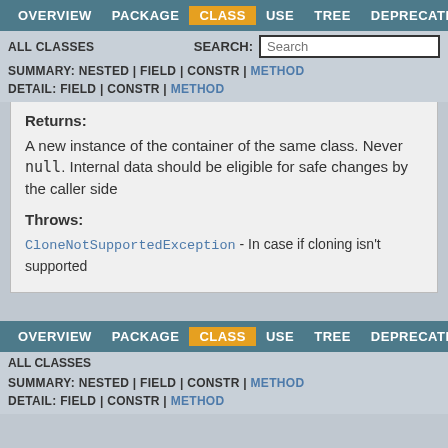OVERVIEW  PACKAGE  CLASS  USE  TREE  DEPRECATED
ALL CLASSES   SEARCH:  [Search]
SUMMARY: NESTED | FIELD | CONSTR | METHOD
DETAIL: FIELD | CONSTR | METHOD
Returns:
A new instance of the container of the same class. Never null. Internal data should be eligible for safe changes by the caller side
Throws:
CloneNotSupportedException - In case if cloning isn't supported
OVERVIEW  PACKAGE  CLASS  USE  TREE  DEPRECATED
ALL CLASSES
SUMMARY: NESTED | FIELD | CONSTR | METHOD
DETAIL: FIELD | CONSTR | METHOD